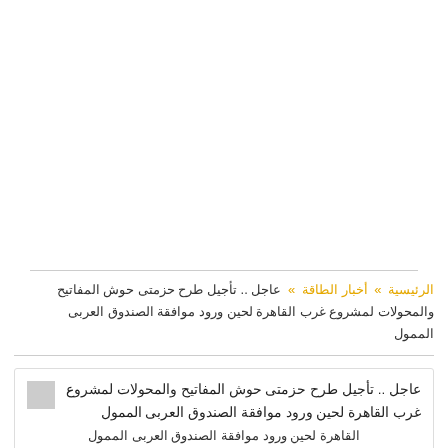الرئيسية » أخبار الطاقة » عاجل .. تأجيل طرح حزمتى حوش المفاتيح والمحولات لمشروع غرب القاهرة لحين ورود موافقة الصندوق العربى الممول
عاجل .. تأجيل طرح حزمتى حوش المفاتيح والمحولات لمشروع غرب القاهرة لحين ورود موافقة الصندوق العربى الممول